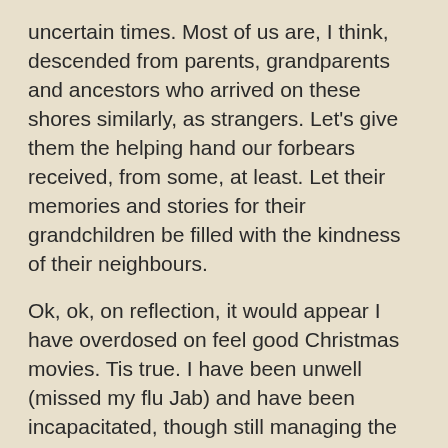uncertain times.  Most of us are, I think, descended from parents, grandparents and ancestors who arrived on these shores similarly, as strangers.  Let's give them the helping hand our forbears received, from some, at least.  Let their memories and stories for their grandchildren be filled with the kindness of their neighbours.
Ok, ok, on reflection, it would appear I have overdosed on feel good Christmas movies.  Tis true.  I have been unwell (missed my flu Jab) and have been incapacitated, though still managing the full red carpet look, one must make an effort.  I'm hoping, should I end up on a machine, a kindly nurse will apply the Clinique lipstick, around the ventilator.  But I digress, I have been captivated by the number of ordinary American girls who take a vacation in Europe and meet a genuine Prince!  None of whom have the Hapsburg 'jaw' or the Windsor 'ears',